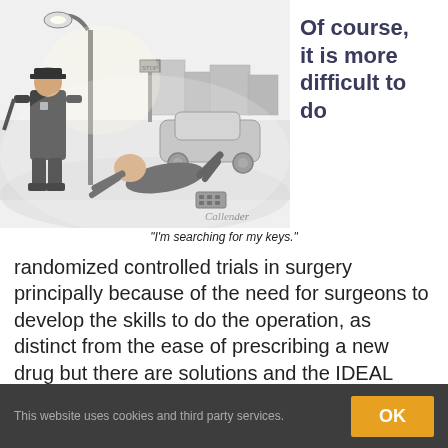[Figure (illustration): Cartoon illustration (signed 'Callender') showing a police officer standing under a street lamp at night, with a man crawling on the sidewalk searching for something, and a car parked on the street in the background.]
Of course, it is more difficult to do
"I'm searching for my keys."
randomized controlled trials in surgery principally because of the need for surgeons to develop the skills to do the operation, as distinct from the ease of prescribing a new drug but there are solutions and the IDEAL method has been increasingly
This website uses cookies and third party services.